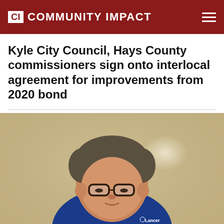CI COMMUNITY IMPACT
Kyle City Council, Hays County commissioners sign onto interlocal agreement for improvements from 2020 bond
[Figure (photo): A man wearing glasses and a blue collared shirt with a Lancer logo, looking down at documents, speaking at what appears to be a public meeting or council session. Background shows a beige/tan wall with ceiling lights.]